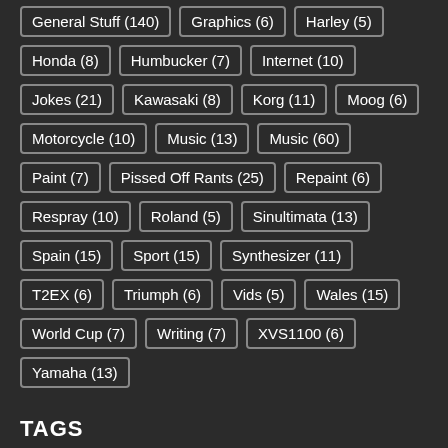General Stuff (140)
Graphics (6)
Harley (5)
Honda (8)
Humbucker (7)
Internet (10)
Jokes (21)
Kawasaki (8)
Korg (11)
Moog (6)
Motorcycle (10)
Music (13)
Music (60)
Paint (7)
Pissed Off Rants (25)
Repaint (6)
Respray (10)
Roland (5)
Sinultimata (13)
Spain (15)
Sport (15)
Synthesizer (11)
T2EX (6)
Triumph (6)
Vids (5)
Wales (15)
World Cup (7)
Writing (7)
XVS1100 (6)
Yamaha (13)
TAGS